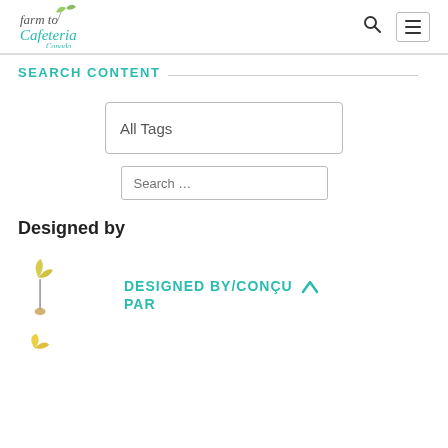farm to Cafeteria Canada
SEARCH CONTENT
All Tags
Search …
Designed by
[Figure (illustration): Small sprout/seedling illustrations]
DESIGNED BY/CONÇU PAR